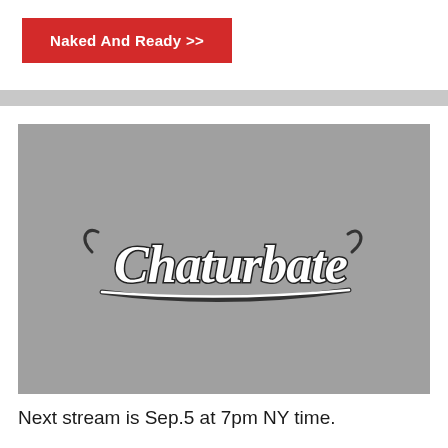[Figure (screenshot): Red button labeled 'Naked And Ready >>' on white background]
[Figure (logo): Chaturbate logo on gray background placeholder image]
Next stream is Sep.5 at 7pm NY time.